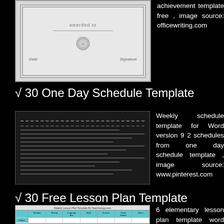[Figure (illustration): Certificate template image showing 'awarded to' text, decorative border, seal, and signature lines for Date and Signature]
achievement template free , image source: officewriting.com
√ 30 One Day Schedule Template
[Figure (screenshot): Weekly schedule template image showing a partially visible schedule grid with dashed lines]
Weekly schedule template for Word version 9 2 schedules from one day schedule template , image source: www.pinterest.com
√ 30 Free Lesson Plan Template Elementary
[Figure (screenshot): Weekly Lesson Plan Template by Teachnology.com showing a table with columns for Monday, Writing, Language Arts, Math, Science, Social Studies, Notes]
6 elementary lesson plan template word from free lesson plan